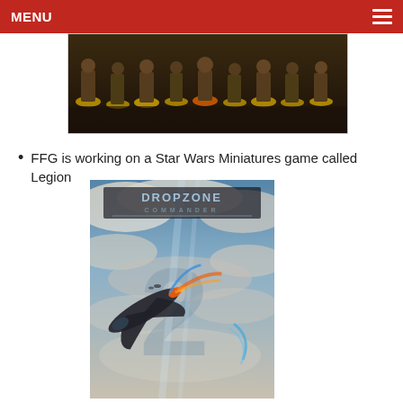MENU
[Figure (photo): Partial top image showing miniature figurines on yellow bases against a dark background]
FFG is working on a Star Wars Miniatures game called Legion
[Figure (illustration): Dropzone Commander 2 promotional art showing a spacecraft flying through cloudy skies with the large numeral 2 in background and Dropzone Commander logo at top]